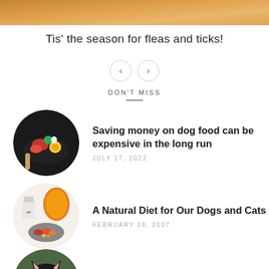[Figure (photo): Top portion of a golden dog photo, cropped at top of page]
Tis' the season for fleas and ticks!
[Figure (other): Navigation arrows: left < and right > in circular buttons]
DON'T MISS
[Figure (photo): Circular photo of dog food bowl with raw meat, vegetables, and egg]
Saving money on dog food can be expensive in the long run
JULY 17, 2022
[Figure (photo): Circular photo of natural pet food ingredients including vegetables and supplements]
A Natural Diet for Our Dogs and Cats
FEBRUARY 28, 2007
[Figure (photo): Circular photo of a black and white Husky dog]
Menu Foods Recall
DECEMBER 15, 2007